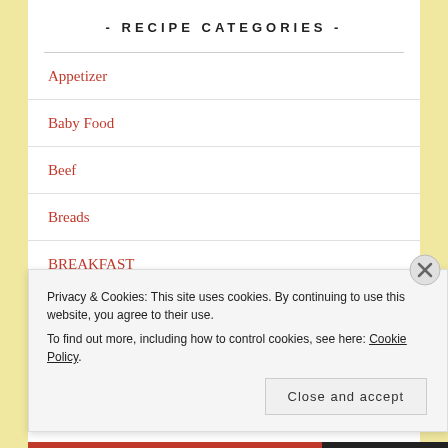- RECIPE CATEGORIES -
Appetizer
Baby Food
Beef
Breads
BREAKFAST
Canning
Privacy & Cookies: This site uses cookies. By continuing to use this website, you agree to their use.
To find out more, including how to control cookies, see here: Cookie Policy
Close and accept